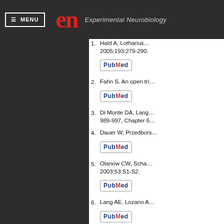MENU | en Experimental Neurobiology
1. Hald A, Lotharius ... 2005;193:279-290.
2. Fahn S. An open tri...
3. Di Monte DA, Lang... 989-997, Chapter 6...
4. Dauer W, Przedbors...
5. Olanow CW, Scha... 2003;53:S1-S2.
6. Lang AE, Lozano A...
7. Bezard E, Dovero S... Relationship bet...